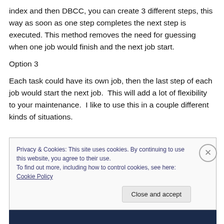index and then DBCC, you can create 3 different steps, this way as soon as one step completes the next step is executed. This method removes the need for guessing when one job would finish and the next job start.
Option 3
Each task could have its own job, then the last step of each job would start the next job.  This will add a lot of flexibility to your maintenance.  I like to use this in a couple different kinds of situations.
Privacy & Cookies: This site uses cookies. By continuing to use this website, you agree to their use.
To find out more, including how to control cookies, see here: Cookie Policy
Close and accept